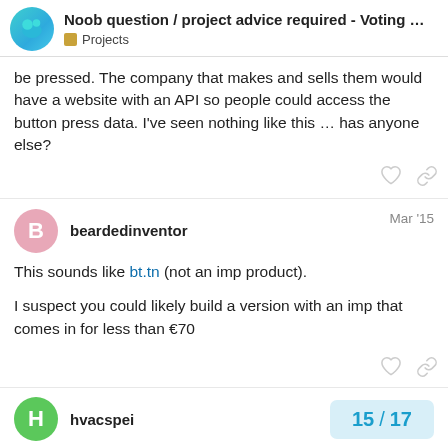Noob question / project advice required - Voting ... | Projects
be pressed. The company that makes and sells them would have a website with an API so people could access the button press data. I've seen nothing like this … has anyone else?
beardedinventor   Mar '15
This sounds like bt.tn (not an imp product).
I suspect you could likely build a version with an imp that comes in for less than €70
hvacspei
15 / 17